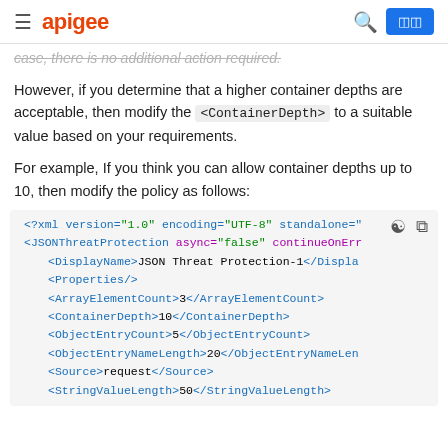apigee
case, there is no additional action required.
However, if you determine that a higher container depths are acceptable, then modify the <ContainerDepth> to a suitable value based on your requirements.
For example, If you think you can allow container depths up to 10, then modify the policy as follows:
[Figure (screenshot): XML code block showing JSONThreatProtection policy configuration with ContainerDepth set to 10, ArrayElementCount 3, ObjectEntryCount 5, ObjectEntryNameLength 20, Source request, StringValueLength 50]